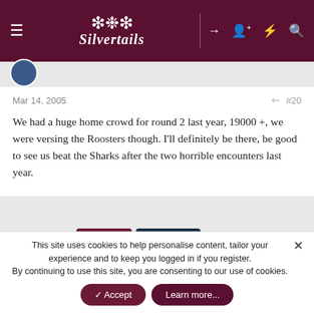Silvertails
Mar 14, 2005   #20
We had a huge home crowd for round 2 last year, 19000 +, we were versing the Roosters though. I'll definitely be there, be good to see us beat the Sharks after the two horrible encounters last year.
1 of 2  Next
You must log in or register to reply here.
This site uses cookies to help personalise content, tailor your experience and to keep you logged in if you register.
By continuing to use this site, you are consenting to our use of cookies.